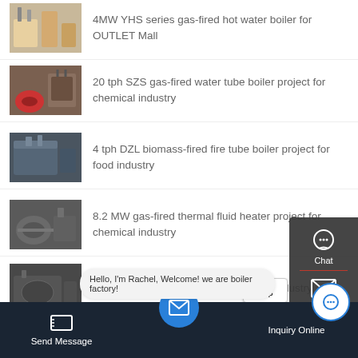4MW YHS series gas-fired hot water boiler for OUTLET Mall
20 tph SZS gas-fired water tube boiler project for chemical industry
4 tph DZL biomass-fired fire tube boiler project for food industry
8.2 MW gas-fired thermal fluid heater project for chemical industry
20 tph coal-fired steam boiler for food industry
7.2MW coal-fired thermal fluid heater project to Pakistan
[Figure (screenshot): Sidebar overlay with Chat, Email, TOP, and Contact icons on dark background]
Hello, I'm Rachel, Welcome! we are boiler factory!
Send Message
Inquiry Online